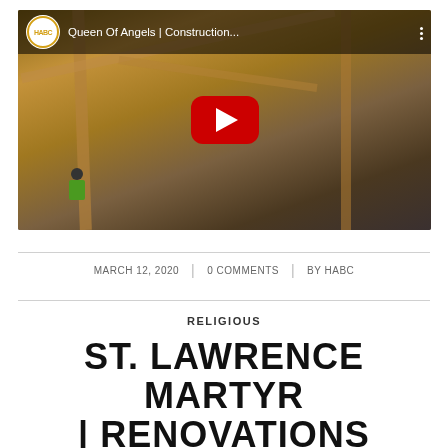[Figure (screenshot): YouTube video thumbnail showing a construction site with wooden framing. Video title reads 'Queen Of Angels | Construction...' by HABC channel. A red YouTube play button is centered on the image. A worker in a green shirt is visible at bottom left.]
MARCH 12, 2020 | 0 COMMENTS | BY HABC
RELIGIOUS
ST. LAWRENCE MARTYR | RENOVATIONS